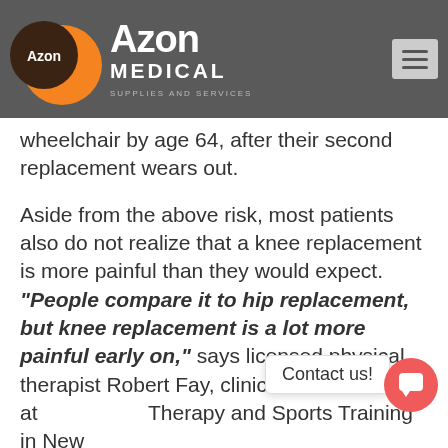[Figure (logo): Azon Medical Supplies and Services logo on dark gray header bar with hamburger menu icon]
wheelchair by age 64, after their second replacement wears out.
Aside from the above risk, most patients also do not realize that a knee replacement is more painful than they would expect. "People compare it to hip replacement, but knee replacement is a lot more painful early on," says licensed physical therapist Robert Fay, clinical director at [Benchmark] Therapy and Sports Training in New York.